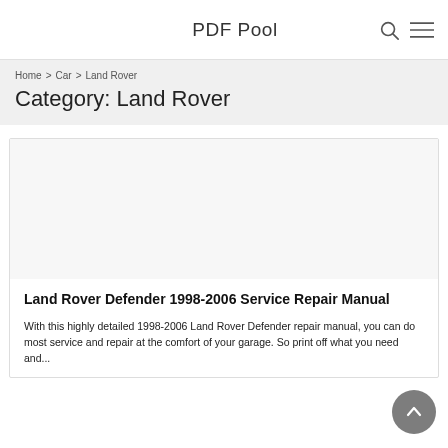PDF Pool
Home > Car > Land Rover
Category: Land Rover
[Figure (other): Blank card image area for Land Rover Defender manual listing]
Land Rover Defender 1998-2006 Service Repair Manual
With this highly detailed 1998-2006 Land Rover Defender repair manual, you can do most service and repair at the comfort of your garage. So print off what you need and...